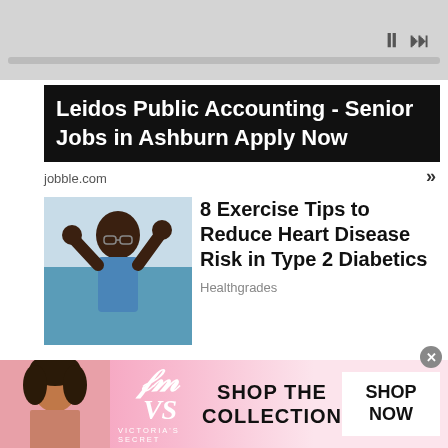[Figure (screenshot): Gray media player bar at top with pause and skip-forward controls and progress bar]
[Figure (screenshot): Advertisement: Leidos Public Accounting - Senior Jobs in Ashburn Apply Now, jobble.com]
jobble.com
[Figure (photo): Photo of older Black man exercising outdoors, raising arms]
8 Exercise Tips to Reduce Heart Disease Risk in Type 2 Diabetics
Healthgrades
[Figure (photo): Photo of a blonde woman and Donald Trump smiling]
[Pics] Donald Trump's $160M Home Is Gorgeous, But You'll Never Expect...
[Figure (screenshot): Victoria's Secret banner ad: SHOP THE COLLECTION with SHOP NOW button]